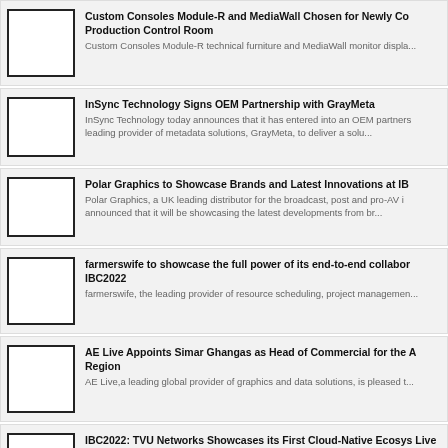Custom Consoles Module-R and MediaWall Chosen for Newly Co Production Control Room
Custom Consoles Module-R technical furniture and MediaWall monitor displa...
InSync Technology Signs OEM Partnership with GrayMeta
InSync Technology today announces that it has entered into an OEM partners leading provider of metadata solutions, GrayMeta, to deliver a solu...
Polar Graphics to Showcase Brands and Latest Innovations at IB Polar Graphics, a UK leading distributor for the broadcast, post and pro-AV i announced that it will be showcasing the latest developments from br...
farmerswife to showcase the full power of its end-to-end collabor IBC2022
farmerswife, the leading provider of resource scheduling, project managemen...
AE Live Appoints Simar Ghangas as Head of Commercial for the A Region
AE Live,a leading global provider of graphics and data solutions, is pleased t...
IBC2022: TVU Networks Showcases its First Cloud-Native Ecosys Live Video Production
TVU Networks, a market and technology leader in cloud and IP-based live vi...
Mo-Sys to demonstrate live broadcast and cinematic Virtual Prod Mo-Sys Engineering, world leader in precision camera tracking solutions for V...